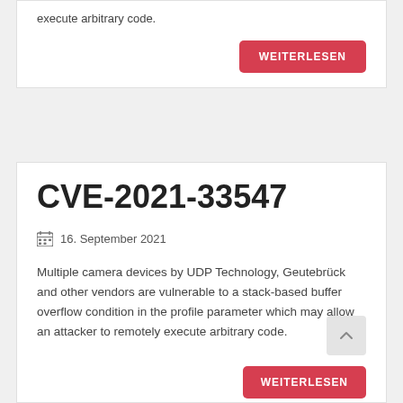execute arbitrary code.
WEITERLESEN
CVE-2021-33547
16. September 2021
Multiple camera devices by UDP Technology, Geutebrück and other vendors are vulnerable to a stack-based buffer overflow condition in the profile parameter which may allow an attacker to remotely execute arbitrary code.
WEITERLESEN